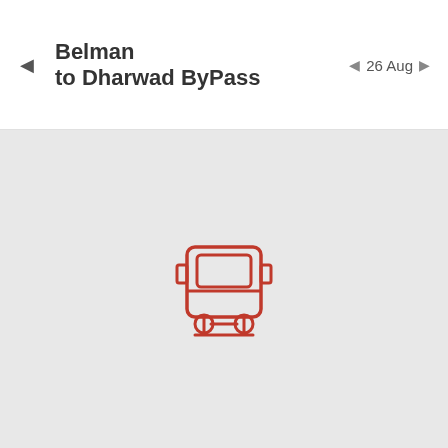Belman to Dharwad ByPass
26 Aug
[Figure (illustration): Red outline bus icon (front view) centered on a light gray background]